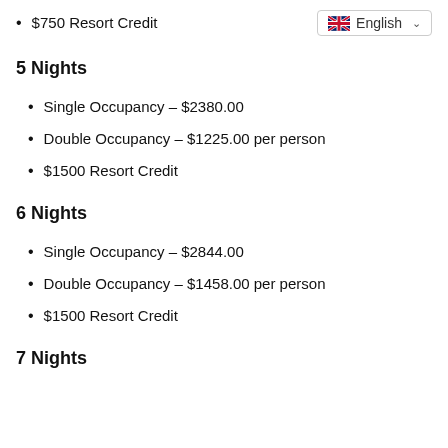$750 Resort Credit
5 Nights
Single Occupancy – $2380.00
Double Occupancy – $1225.00 per person
$1500 Resort Credit
6 Nights
Single Occupancy – $2844.00
Double Occupancy – $1458.00 per person
$1500 Resort Credit
7 Nights